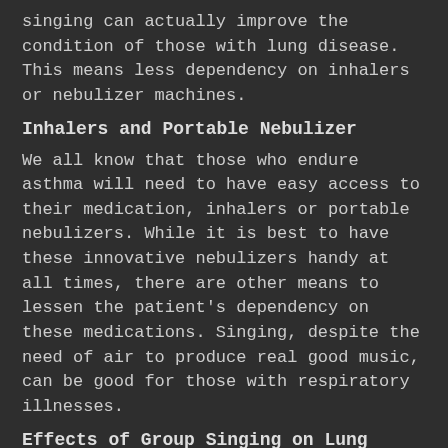singing can actually improve the condition of those with lung disease. This means less dependency on inhalers or nebulizer machines.
Inhalers and Portable Nebulizer
We all know that those who endure asthma will need to have easy access to their medication, inhalers or portable nebulizers. While it is best to have these innovative nebulizers handy at all times, there are other means to lessen the patient's dependency on these medications. Singing, despite the need of air to produce real good music, can be good for those with respiratory illnesses.
Effects of Group Singing on Lung Health
[Figure (screenshot): YouTube-style video embed showing 'Sing for your lungs: join a singin...' with a British Lung Foundation channel logo (red balloon icon) and a thumbnail of a person's face/head.]